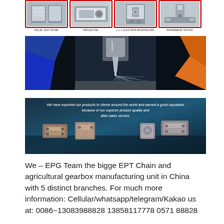[Figure (photo): Four equipment photos in a row: Pulse Test Room, Projector, Electron Microscope, Roundness Tester — each with a red border frame and label beneath]
[Figure (photo): CNC machining center with metal cutting tool spraying coolant/chips on a metal workpiece — industrial manufacturing photo]
[Figure (photo): Dark blue background promotional banner showing chain link components and connector pieces with white italic text: 'We have exported our products to clients around the world and earned a good reputation because of our superior product quality and after-sales service.']
We – EPG Team the bigge EPT Chain and agricultural gearbox manufacturing unit in China with 5 distinct branches. For much more information: Cellular/whatsapp/telegram/Kakao us at: 0086~13083988828 13858117778 0571 88828